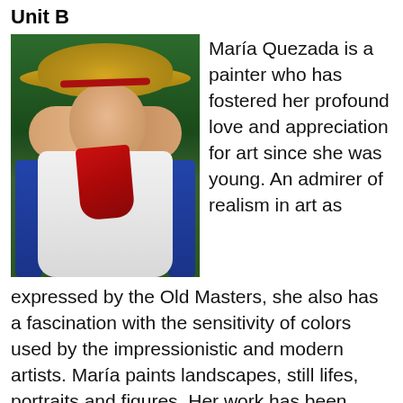Unit B
[Figure (illustration): Oil painting of a woman wearing a wide-brimmed yellow hat, white sleeveless dress, red scarf/neckerchief, sitting in a blue chair with green foliage background.]
María Quezada is a painter who has fostered her profound love and appreciation for art since she was young. An admirer of realism in art as expressed by the Old Masters, she also has a fascination with the sensitivity of colors used by the impressionistic and modern artists. María paints landscapes, still lifes, portraits and figures. Her work has been featured in several group exhibits including at The National Arts Program in Baltimore, MD, Yellow Barn in Glen Echo, MD, VisArt Gallery in